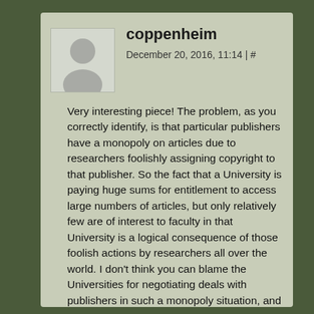coppenheim
December 20, 2016, 11:14 | #
Very interesting piece! The problem, as you correctly identify, is that particular publishers have a monopoly on articles due to researchers foolishly assigning copyright to that publisher. So the fact that a University is paying huge sums for entitlement to access large numbers of articles, but only relatively few are of interest to faculty in that University is a logical consequence of those foolish actions by researchers all over the world. I don't think you can blame the Universities for negotiating deals with publishers in such a monopoly situation, and so am doubtful they have any legal case to answer